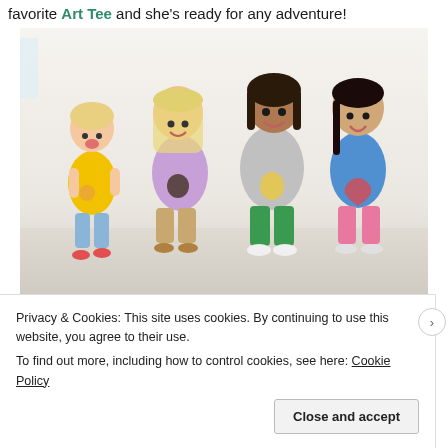favorite Art Tee and she's ready for any adventure!
[Figure (photo): Four young girls posing together, smiling and laughing. Each girl wears a colorful graphic t-shirt: one in yellow with a pizza/food print, one in lavender with a dog print, one in gray with a pineapple print, and one in blue with a rainbow heart print. They are wearing shorts and sandals/sneakers, standing in a bright white room.]
Privacy & Cookies: This site uses cookies. By continuing to use this website, you agree to their use.
To find out more, including how to control cookies, see here: Cookie Policy
Close and accept